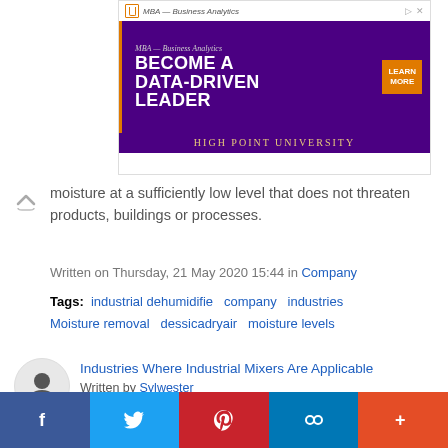[Figure (infographic): Advertisement banner for High Point University MBA - Business Analytics program. Purple background with text 'BECOME A DATA-DRIVEN LEADER' and orange 'LEARN MORE' button.]
...moisture at a sufficiently low level that does not threaten products, buildings or processes.
Written on Thursday, 21 May 2020 15:44 in Company
Tags: industrial dehumidifie  company  industries  Moisture removal  dessicadryair  moisture levels
Industries Where Industrial Mixers Are Applicable
Written by Sylwester
[Figure (photo): Photo of a blender with green smoothie ingredients (kiwi and other fruits) inside, on a gray background.]
[Figure (infographic): Social media share bar with Facebook, Twitter, Pinterest, LinkedIn/chain-link, and More (+) buttons.]